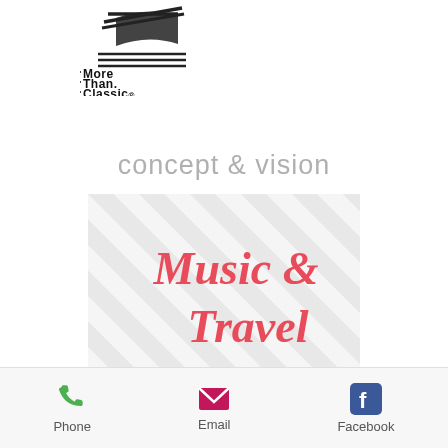[Figure (logo): More Than Classic logo with stylized book/lines icon above text]
concept & vision
[Figure (illustration): Diagonal grey and white stripes pattern with bold red/pink serif text 'Music & Travel' overlaid on the right side]
Phone   Email   Facebook